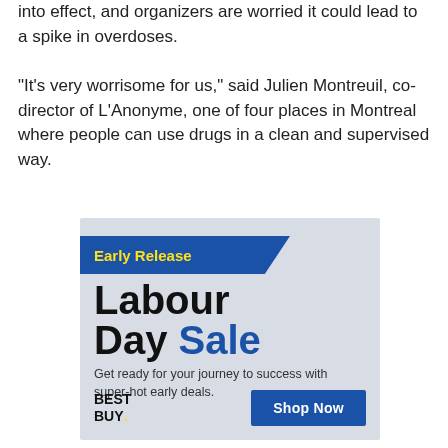into effect, and organizers are worried it could lead to a spike in overdoses.

"It's very worrisome for us," said Julien Montreuil, co-director of L'Anonyme, one of four places in Montreal where people can use drugs in a clean and supervised way.
[Figure (infographic): Best Buy advertisement: 'Early Release' banner in blue with yellow text, 'Labour Day Sale' in large bold text (Labour in black, Sale in blue), subtext 'Get ready for your journey to success with super-hot early deals.', Best Buy logo bottom left, 'Shop Now' blue button bottom right.]